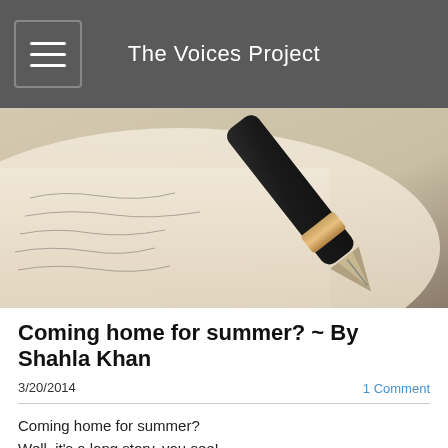The Voices Project
[Figure (photo): Close-up photo of a fountain pen resting on a handwritten notebook page]
Coming home for summer? ~ By Shahla Khan
3/20/2014
1 Comment
Coming home for summer?
Well, it's a long story, you see!

I get asked this question often,
When the sunshine is warm and pleasant,
People pack up and leave in haste,
For family reunion bliss.